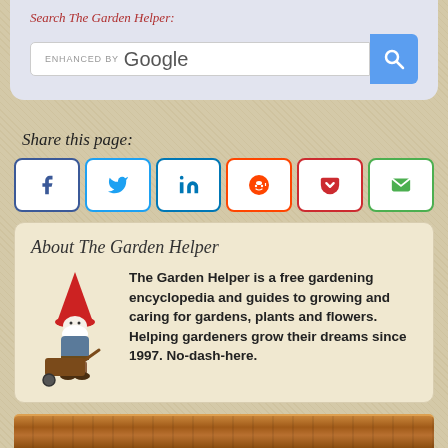Search The Garden Helper:
[Figure (screenshot): Google search bar with 'ENHANCED BY Google' text and blue search button with magnifying glass icon]
Share this page:
[Figure (infographic): Six social share buttons: Facebook (blue), Twitter (light blue), LinkedIn (blue), Reddit (orange), Pocket (dark red), Email (green)]
About The Garden Helper
The Garden Helper is a free gardening encyclopedia and guides to growing and caring for gardens, plants and flowers. Helping gardeners grow their dreams since 1997. No-dash-here.
[Figure (illustration): Garden gnome illustration with red hat pushing a wooden wheelbarrow]